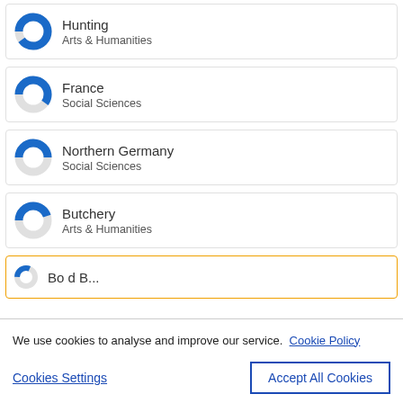[Figure (donut-chart): Donut chart ~90% filled blue]
Hunting
Arts & Humanities
[Figure (donut-chart): Donut chart ~60% filled blue]
France
Social Sciences
[Figure (donut-chart): Donut chart ~50% filled blue]
Northern Germany
Social Sciences
[Figure (donut-chart): Donut chart ~45% filled blue]
Butchery
Arts & Humanities
We use cookies to analyse and improve our service. Cookie Policy
Cookies Settings
Accept All Cookies